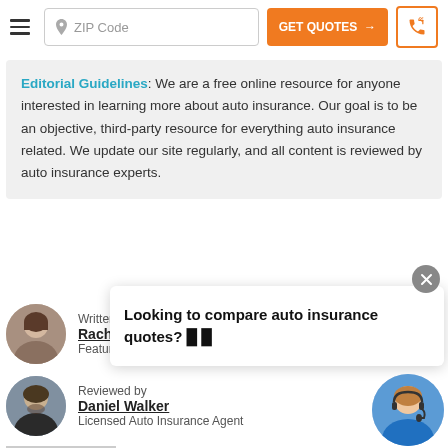ZIP Code | GET QUOTES → | phone button
Editorial Guidelines: We are a free online resource for anyone interested in learning more about auto insurance. Our goal is to be an objective, third-party resource for everything auto insurance related. We update our site regularly, and all content is reviewed by auto insurance experts.
Looking to compare auto insurance quotes?
Written by
Rachel Bodine
Feature Writer
Reviewed by
Daniel Walker
Licensed Auto Insurance Agent